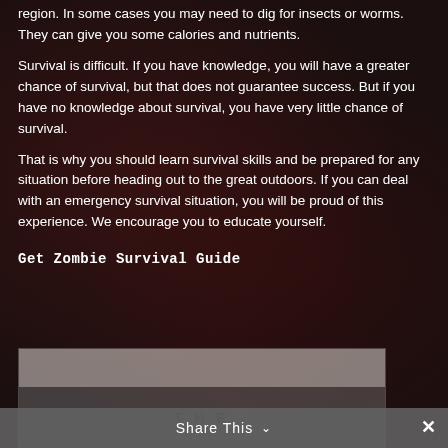region. In some cases you may need to dig for insects or worms. They can give you some calories and nutrients.
Survival is difficult. If you have knowledge, you will have a greater chance of survival, but that does not guarantee success. But if you have no knowledge about survival, you have very little chance of survival.
That is why you should learn survival skills and be prepared for any situation before heading out to the great outdoors. If you can deal with an emergency survival situation, you will be proud of this experience. We encourage you to educate yourself.
Get Zombie Survival Guide
[Figure (illustration): Partial book cover image with 'THE' text visible, with a Share This button overlay at the bottom]
Share This   ×